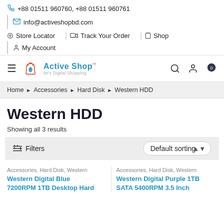+88 01511 960760, +88 01511 960761
info@activeshopbd.com
Store Locator | Track Your Order | Shop
My Account
[Figure (logo): Active Shop logo with shopping bag icon and tagline 'let's Digital Shopping']
Home > Accessories > Hard Disk > Western HDD
Western HDD
Showing all 3 results
Filters  Default sorting
Accessories, Hard Disk, Western
Western Digital Blue 7200RPM 1TB Desktop Hard
Accessories, Hard Disk, Western
Western Digital Purple 1TB SATA 5400RPM 3.5 Inch